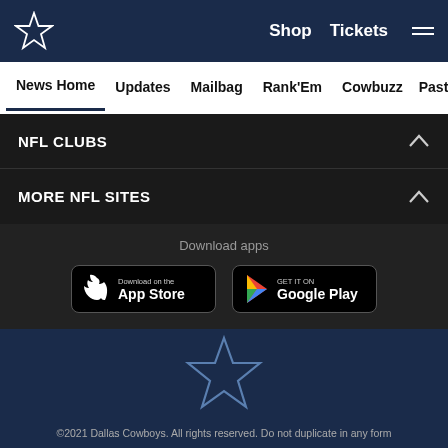Dallas Cowboys navigation header with logo, Shop, Tickets, and menu
News Home | Updates | Mailbag | Rank'Em | Cowbuzz | Past/Pres
NFL CLUBS
MORE NFL SITES
Download apps
[Figure (screenshot): App Store download button]
[Figure (screenshot): Google Play download button]
[Figure (logo): Dallas Cowboys star logo (large)]
©2021 Dallas Cowboys. All rights reserved. Do not duplicate in any form
[Figure (other): Social media icons: Facebook, Twitter, Email, Chain link]